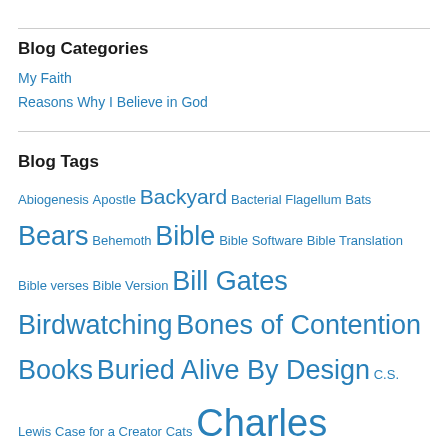Blog Categories
My Faith
Reasons Why I Believe in God
Blog Tags
Abiogenesis Apostle Backyard Bacterial Flagellum Bats Bears Behemoth Bible Bible Software Bible Translation Bible verses Bible Version Bill Gates Birdwatching Bones of Contention Books Buried Alive By Design C.S. Lewis Case for a Creator Cats Charles Darwin Christian Radio Station Computers Created Kinds Creation Creationism Creationist Creator CS Lewis Darwin Darwins Black Box Darwins Enigma Darwins Finches Declaration of Independence Dinosaurs Dinosaurs in